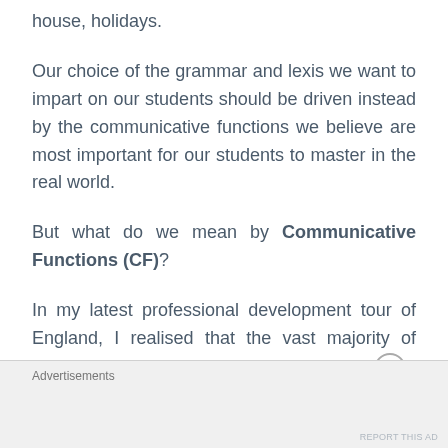house, holidays.
Our choice of the grammar and lexis we want to impart on our students should be driven instead by the communicative functions we believe are most important for our students to master in the real world.
But what do we mean by Communicative Functions (CF)?
In my latest professional development tour of England, I realised that the vast majority of England-based language teachers are not
Advertisements